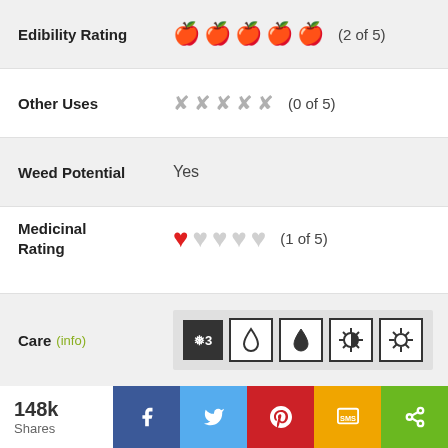Edibility Rating (2 of 5) — 2 green apples, 3 gray apples
Other Uses (0 of 5) — 5 gray tool icons
Weed Potential: Yes
Medicinal Rating (1 of 5) — 1 red heart, 4 gray hearts
Care (info) — care icons: frost 3, water empty, water filled, sun partial, sun full
[Figure (photo): Close-up photo of plant buds/flowers with green background]
148k Shares
Social share buttons: Facebook, Twitter, Pinterest, SMS, Share